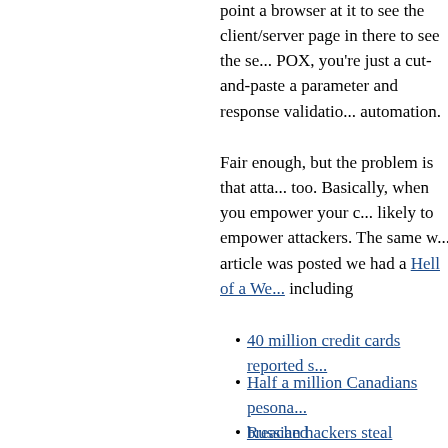point a browser at it to see the client/server page in there to see the se... POX, you're just a cut-and-paste a parameter and response validation automation.
Fair enough, but the problem is that atta... too. Basically, when you empower your c... likely to empower attackers. The same w... article was posted we had a Hell of a We... including
40 million credit cards reported s...
Half a million Canadians pesona... breached
Russian hackers steal €800,000... largest bank
So the state of the 1995 security model, SSL, and a prayer, that most developers is not cutting it. Larry O'Brien makes legi... usability of some elements of the WS-* s... from this conversation is that the decision developers to choose what is easiest to w...